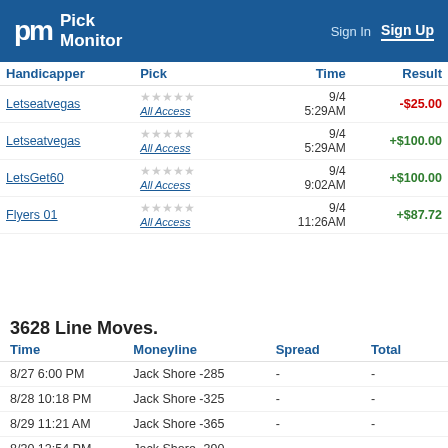Pick Monitor — Sign In | Sign Up
| Handicapper | Pick | Time | Result |
| --- | --- | --- | --- |
| Letseatvegas | ★★★★★ Get / All Access | 9/4 5:29AM | -$25.00 |
| Letseatvegas | ★★★★★ Get / All Access | 9/4 5:29AM | +$100.00 |
| LetsGet60 | ★★★★★ Get / All Access | 9/4 9:02AM | +$100.00 |
| Flyers 01 | ★★★★★ Get / All Access | 9/4 11:26AM | +$87.72 |
3628 Line Moves.
| Time | Moneyline | Spread | Total |
| --- | --- | --- | --- |
| 8/27 6:00 PM | Jack Shore -285 | - | - |
| 8/28 10:18 PM | Jack Shore -325 | - | - |
| 8/29 11:21 AM | Jack Shore -365 | - | - |
| 8/30 12:54 PM | Jack Shore -390 | - | - |